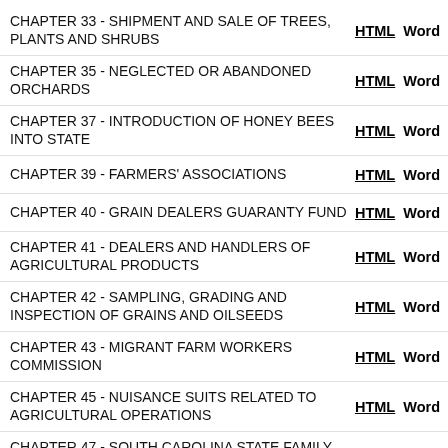CHAPTER 33 - SHIPMENT AND SALE OF TREES, PLANTS AND SHRUBS  HTML  Word
CHAPTER 35 - NEGLECTED OR ABANDONED ORCHARDS  HTML  Word
CHAPTER 37 - INTRODUCTION OF HONEY BEES INTO STATE  HTML  Word
CHAPTER 39 - FARMERS' ASSOCIATIONS  HTML  Word
CHAPTER 40 - GRAIN DEALERS GUARANTY FUND  HTML  Word
CHAPTER 41 - DEALERS AND HANDLERS OF AGRICULTURAL PRODUCTS  HTML  Word
CHAPTER 42 - SAMPLING, GRADING AND INSPECTION OF GRAINS AND OILSEEDS  HTML  Word
CHAPTER 43 - MIGRANT FARM WORKERS COMMISSION  HTML  Word
CHAPTER 45 - NUISANCE SUITS RELATED TO AGRICULTURAL OPERATIONS  HTML  Word
CHAPTER 47 - SOUTH CAROLINA STATE FAMILY FARM DEVELOPMENT AUTHORITY ACT [REPEALED]  HTML  Word
CHAPTER 49 - SUPERVISION AND